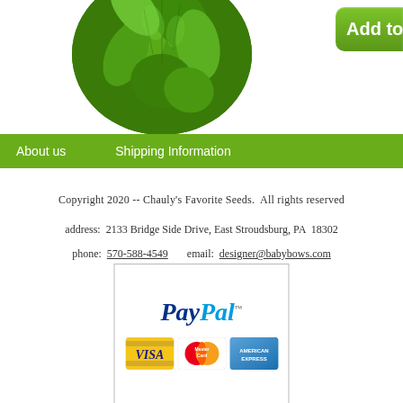[Figure (photo): Circular cropped photo of green leafy herb plant (appears to be parsley or similar herb) with dark green foliage]
[Figure (other): Partially visible green 'Add to' button (Add to Cart) on the right side]
About us    Shipping Information
Copyright 2020 -- Chauly's Favorite Seeds.  All rights reserved
address:  2133 Bridge Side Drive, East Stroudsburg, PA  18302
phone:  570-588-4549          email:  designer@babybows.com
[Figure (logo): PayPal payment logo with VISA, MasterCard, and American Express card logos below it, inside a bordered box]